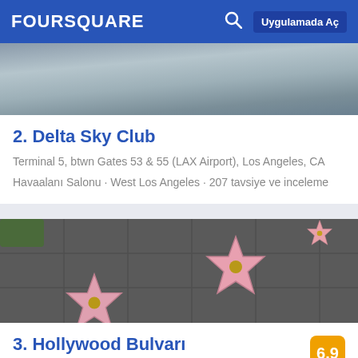FOURSQUARE  Uygulamada Aç
[Figure (photo): Interior lounge photo (partial, top crop) for Delta Sky Club]
2. Delta Sky Club
Terminal 5, btwn Gates 53 & 55 (LAX Airport), Los Angeles, CA
Havaalanı Salonu · West Los Angeles · 207 tavsiye ve inceleme
[Figure (photo): Hollywood Walk of Fame stars on sidewalk pavement]
3. Hollywood Bulvarı
(Hollywood Walk of Fame)